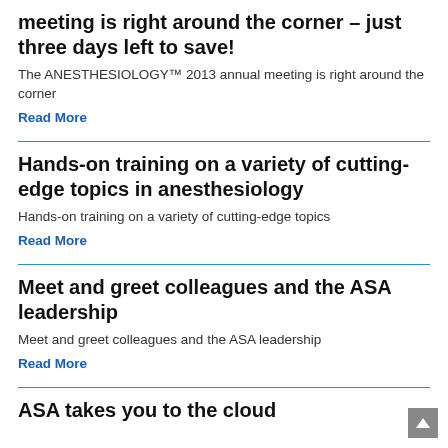meeting is right around the corner – just three days left to save!
The ANESTHESIOLOGY™ 2013 annual meeting is right around the corner
Read More
Hands-on training on a variety of cutting-edge topics in anesthesiology
Hands-on training on a variety of cutting-edge topics
Read More
Meet and greet colleagues and the ASA leadership
Meet and greet colleagues and the ASA leadership
Read More
ASA takes you to the cloud